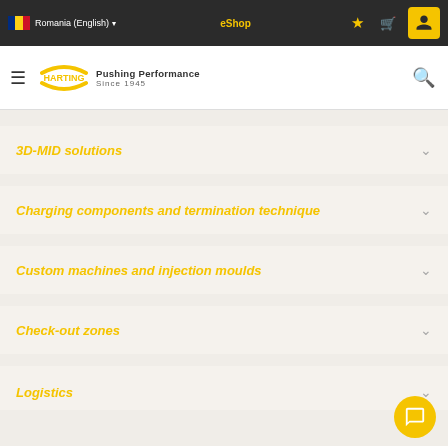Romania (English) | eShop | HARTING Pushing Performance Since 1945
3D-MID solutions
Charging components and termination technique
Custom machines and injection moulds
Check-out zones
Logistics